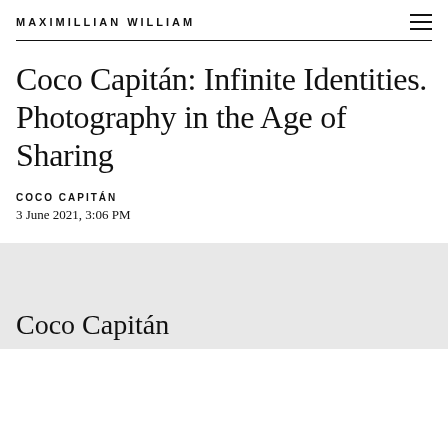MAXIMILLIAN WILLIAM
Coco Capitán: Infinite Identities. Photography in the Age of Sharing
COCO CAPITÁN
3 June 2021, 3:06 PM
[Figure (photo): Light grey image preview area showing partial text 'Coco Capitán' at the bottom]